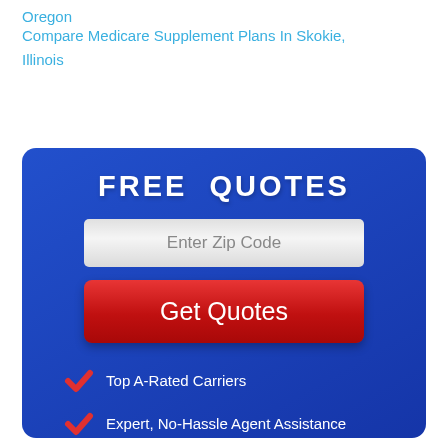Oregon
Compare Medicare Supplement Plans In Skokie, Illinois
[Figure (infographic): A blue rounded rectangle widget titled FREE QUOTES with a zip code input field, a red Get Quotes button, and three checkmark bullet points: Top A-Rated Carriers, Expert, No-Hassle Agent Assistance, All Consultation Services Are Free.]